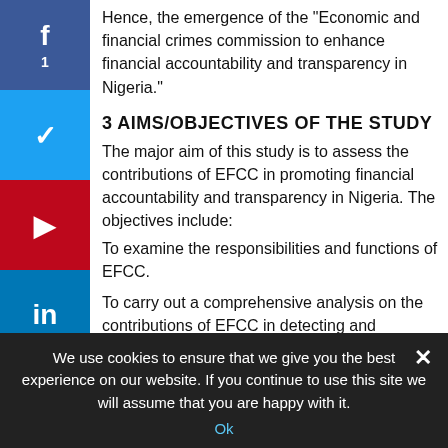Hence, the emergence of the "Economic and financial crimes commission to enhance financial accountability and transparency in Nigeria."
3 AIMS/OBJECTIVES OF THE STUDY
The major aim of this study is to assess the contributions of EFCC in promoting financial accountability and transparency in Nigeria. The objectives include:
To examine the responsibilities and functions of EFCC.
To carry out a comprehensive analysis on the contributions of EFCC in detecting and controlling fraud in Nigeria.
To examine how effective EFCC contributions benefited
We use cookies to ensure that we give you the best experience on our website. If you continue to use this site we will assume that you are happy with it.